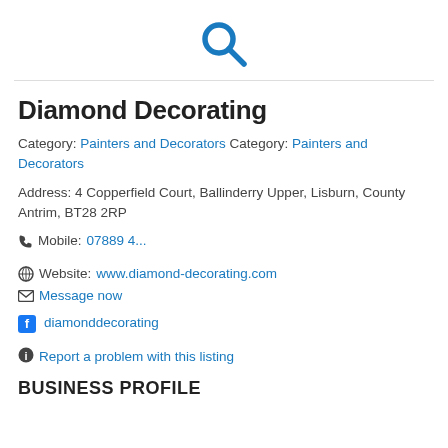[Figure (illustration): Blue magnifying glass search icon]
Diamond Decorating
Category: Painters and Decorators Category: Painters and Decorators
Address: 4 Copperfield Court, Ballinderry Upper, Lisburn, County Antrim, BT28 2RP
Mobile: 07889 4...
Website: www.diamond-decorating.com
Message now
diamonddecorating
Report a problem with this listing
BUSINESS PROFILE